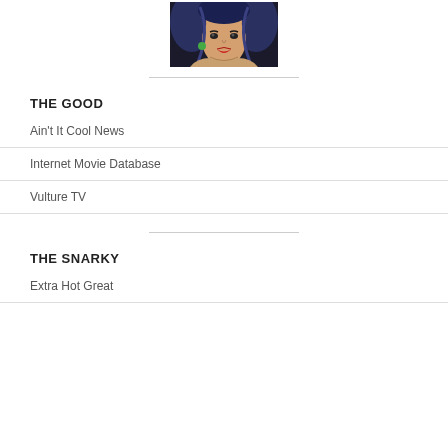[Figure (illustration): Illustrated portrait of an anime-style woman with blue-black hair, red lips, and green earring]
THE GOOD
Ain't It Cool News
Internet Movie Database
Vulture TV
THE SNARKY
Extra Hot Great